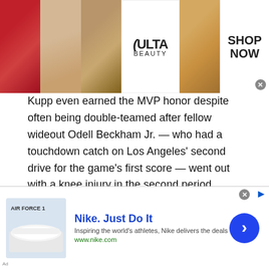[Figure (other): ULTA Beauty advertisement banner with makeup images (lips, brush, eye) and 'SHOP NOW' call to action]
Kupp even earned the MVP honor despite often being double-teamed after fellow wideout Odell Beckham Jr. — who had a touchdown catch on Los Angeles' second drive for the game's first score — went out with a knee injury in the second period. Kupp finished with eight receptions for 92 yards.
One fear for Rams followers was ill-advised throws by Stafford, and he had two. His deep pass moving left was picked in the end zone late in the first half by Jessie Bates III.
[Figure (other): Nike 'Just Do It' advertisement banner with Air Force 1 shoe image, tagline 'Inspiring the world's athletes, Nike delivers the deals', URL www.nike.com, and blue arrow button]